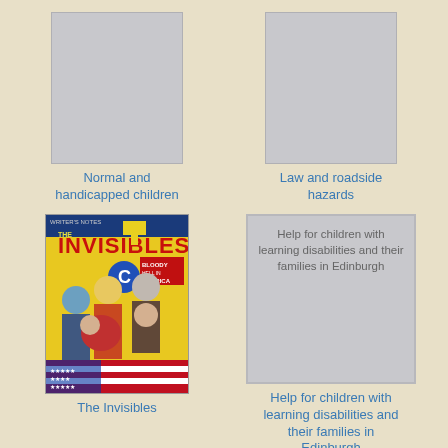[Figure (illustration): Gray placeholder rectangle for book cover - Normal and handicapped children]
Normal and handicapped children
[Figure (illustration): Gray placeholder rectangle for book cover - Law and roadside hazards]
Law and roadside hazards
[Figure (illustration): The Invisibles comic book cover - Bloody Hell in America, showing group of characters with American flag, yellow background]
The Invisibles
[Figure (illustration): Gray placeholder rectangle with text: Help for children with learning disabilities and their families in Edinburgh]
Help for children with learning disabilities and their families in Edinburgh
[Figure (illustration): Tan/yellow placeholder rectangle at bottom left]
[Figure (illustration): Gray placeholder rectangle at bottom right]